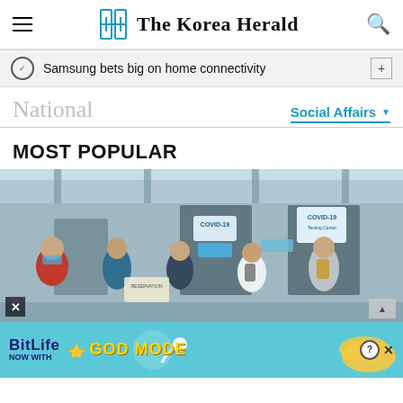The Korea Herald
Samsung bets big on home connectivity
National
Social Affairs
MOST POPULAR
[Figure (photo): People wearing masks lined up at a COVID-19 testing or vaccination center in what appears to be an airport or transit hub. COVID-19 signage visible in the background.]
[Figure (screenshot): BitLife advertisement banner — NOW WITH GOD MODE — with blue background, cartoon hands, and lightning bolt graphic.]